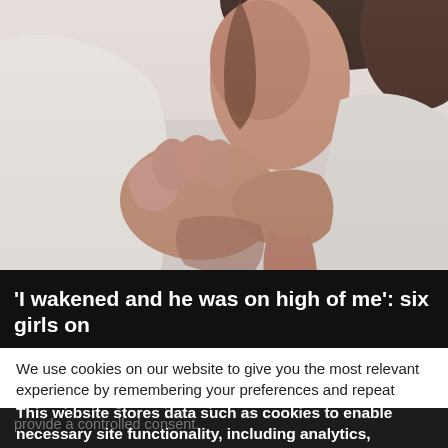[Figure (photo): Close-up photo of a person wearing white clothing, with their hands visible, dark hair partially visible at top]
‘I wakened and he was on high of me’: six girls on
We use cookies on our website to give you the most relevant experience by remembering your preferences and repeat visits. By clicking “Accept All”, you consent to the use of ALL
This website stores data such as cookies to enable necessary site functionality, including analytics, targeting, and personalization. By remaining on this website you indicate your consent Cookie Policy
provide a controlled consent.